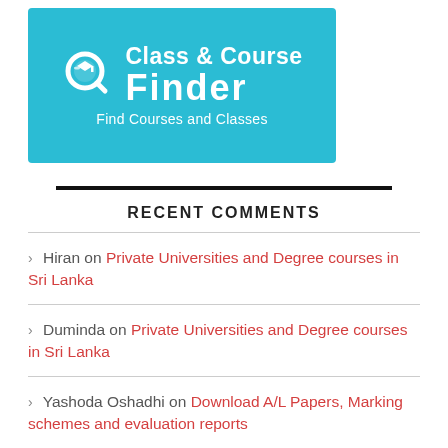[Figure (logo): Class & Course Finder logo on teal/cyan background with magnifying glass icon and text 'Class & Course Finder - Find Courses and Classes']
RECENT COMMENTS
› Hiran on Private Universities and Degree courses in Sri Lanka
› Duminda on Private Universities and Degree courses in Sri Lanka
› Yashoda Oshadhi on Download A/L Papers, Marking schemes and evaluation reports